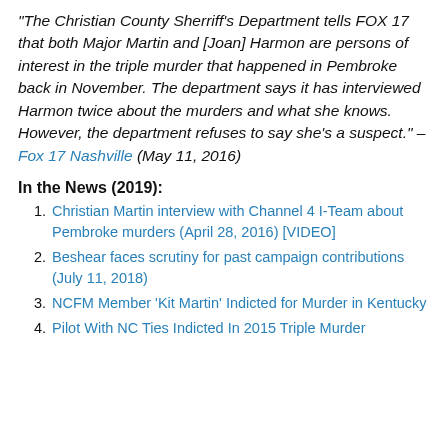"The Christian County Sherriff's Department tells FOX 17 that both Major Martin and [Joan] Harmon are persons of interest in the triple murder that happened in Pembroke back in November. The department says it has interviewed Harmon twice about the murders and what she knows. However, the department refuses to say she's a suspect." –Fox 17 Nashville (May 11, 2016)
In the News (2019):
Christian Martin interview with Channel 4 I-Team about Pembroke murders (April 28, 2016) [VIDEO]
Beshear faces scrutiny for past campaign contributions (July 11, 2018)
NCFM Member 'Kit Martin' Indicted for Murder in Kentucky
Pilot With NC Ties Indicted In 2015 Triple Murder